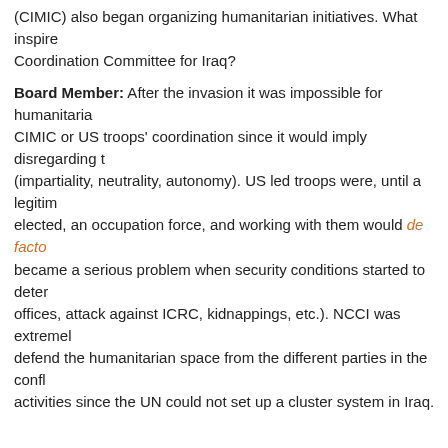(CIMIC) also began organizing humanitarian initiatives. What inspired the creation of the NGO Coordination Committee for Iraq?
Board Member: After the invasion it was impossible for humanitarian organizations to accept CIMIC or US troops' coordination since it would imply disregarding their humanitarian principles (impartiality, neutrality, autonomy). US led troops were, until a legitimately elected government was elected, an occupation force, and working with them would de facto ... became a serious problem when security conditions started to deteriorate (bombing of UN offices, attack against ICRC, kidnappings, etc.). NCCI was extremely used to defend the humanitarian space from the different parties in the conflict and to coordinate activities since the UN could not set up a cluster system in Iraq.
NCCI: Was there a specific prior organization or plan on which NCCI was modeled?
Former Executive Coordinator (2005-2008): Not really, some NGOs had established a coordination body in Rwanda in the 90's and in Afghanistan in 2001. NCCI did not follow a specific model and instead designed based on the needs of NGOs at the time. NCCI changed a lot in 10 years to adapt itself to the context and the needs of NGOs.
NCCI: What was the vision of the relationship that NCCI would maintain with the UN, member INGOs, and non-member NNGOs?